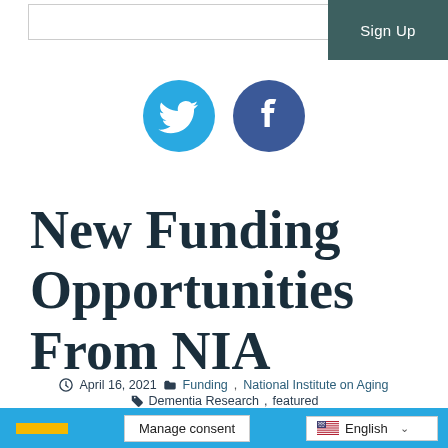[Figure (screenshot): Input box and Sign Up button in dark teal]
[Figure (illustration): Twitter and Facebook social media circular icons in blue]
New Funding Opportunities From NIA
April 16, 2021  Funding, National Institute on Aging  Dementia Research, featured
Manage consent   English